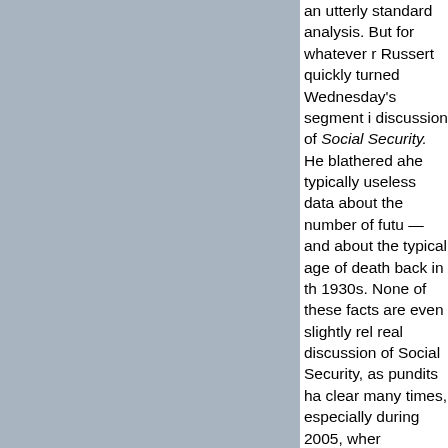an utterly standard analysis. But for whatever reason, Russert quickly turned Wednesday's segment into a discussion of Social Security. He blathered ahead with typically useless data about the number of future retirees —and about the typical age of death back in the 1930s. None of these facts are even slightly relevant to a real discussion of Social Security, as pundits have made clear many times, especially during 2005, when Bush's privatization plan hit the deck. (Duh. These useless facts are already part of the future funding formulas!) Instead, Russert rolled out his standard old cant—and drove the discussion away from Medicare, the actual source of our problems. Why did he do this? We have no idea; there seems to be no partisan reason. But we'll offer a suggestion: Inevitably, this is the type of self-impressed, bungled work a middle-class democracy will get when its major news orgs be run by a mogul elite.
You might call this Nantucket-style journalism. The self-impressed Burgher Russert provides such work in spades.
Because yes, Russert has done this forever. Back in January 2000, he monopolized a Republican debate with his own set of facts about Social Security, blathering on until Alan Keyes heroically told him to shut his mouth. (See THE DAILY HOWLER, 12/8/04, with a link to that reporting.) That summer, he and Joe Klein staged a long and stupid discussion, trashing Candidate Gore